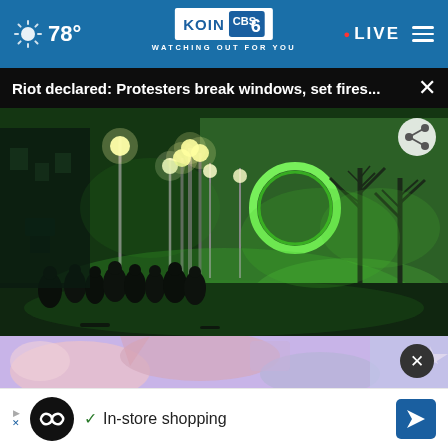78° KOIN 6 CBS WATCHING OUT FOR YOU • LIVE
Riot declared: Protesters break windows, set fires...
[Figure (photo): Night scene showing protesters gathered on a city street illuminated by green light flares and street lamps, with bare winter trees and a large building in the background]
[Figure (screenshot): Partial advertisement image strip with colorful cartoon/illustrated graphics]
In-store shopping